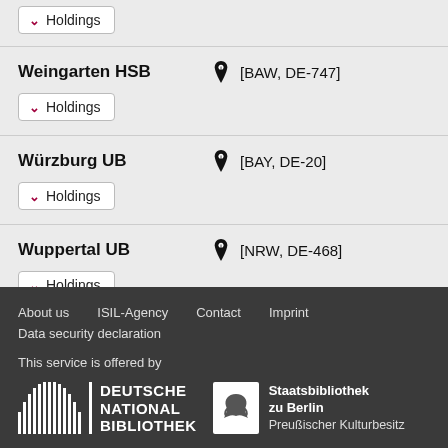Holdings (partial, top of page)
Weingarten HSB [BAW, DE-747] Holdings
Würzburg UB [BAY, DE-20] Holdings
Wuppertal UB [NRW, DE-468] Holdings
About us   ISIL-Agency   Contact   Imprint   Data security declaration
This service is offered by
DEUTSCHE NATIONALBIBLIOTHEK   Staatsbibliothek zu Berlin Preußischer Kulturbesitz